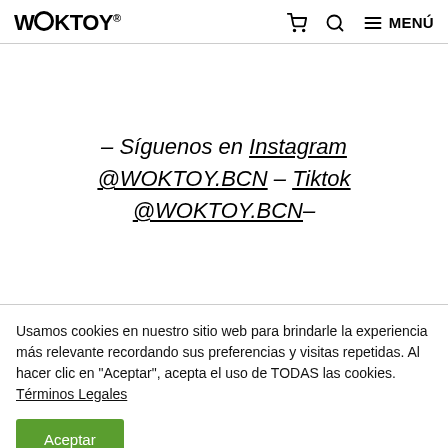WOKTOY® 🛒 🔍 ≡ MENÚ
– Síguenos en Instagram @WOKTOY.BCN – Tiktok @WOKTOY.BCN–
Usamos cookies en nuestro sitio web para brindarle la experiencia más relevante recordando sus preferencias y visitas repetidas. Al hacer clic en "Aceptar", acepta el uso de TODAS las cookies. Términos Legales
Aceptar